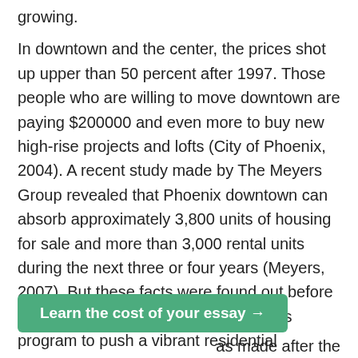growing.
In downtown and the center, the prices shot up upper than 50 percent after 1997. Those people who are willing to move downtown are paying $200000 and even more to buy new high-rise projects and lofts (City of Phoenix, 2004). A recent study made by The Meyers Group revealed that Phoenix downtown can absorb approximately 3,800 units of housing for sale and more than 3,000 rental units during the next three or four years (Meyers, 2007). But these facts were found out before Arizona State University announced its program to push a vibrant residential environment and before the medical school creation was announced. Taking this into consideration it is predicted that the demand for new housing units will rise to 10000 new units in a decade.
Learn the cost of your essay →
as made after the